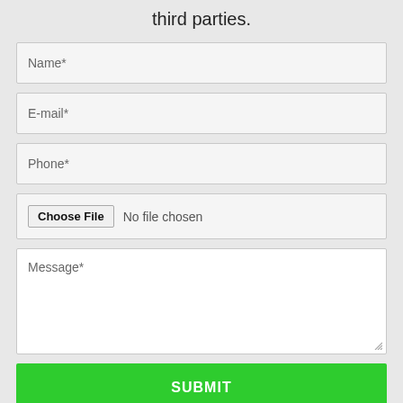third parties.
Name*
E-mail*
Phone*
Choose File  No file chosen
Message*
SUBMIT